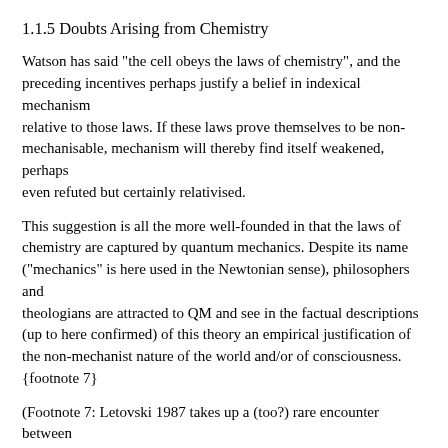1.1.5 Doubts Arising from Chemistry
Watson has said "the cell obeys the laws of chemistry", and the preceding incentives perhaps justify a belief in indexical mechanism
relative to those laws. If these laws prove themselves to be non-mechanisable, mechanism will thereby find itself weakened, perhaps
even refuted but certainly relativised.
This suggestion is all the more well-founded in that the laws of chemistry are captured by quantum mechanics. Despite its name ("mechanics" is here used in the Newtonian sense), philosophers and
theologians are attracted to QM and see in the factual descriptions (up to here confirmed) of this theory an empirical justification of the non-mechanist nature of the world and/or of consciousness.
{footnote 7}
(Footnote 7: Letovski 1987 takes up a (too?) rare encounter between
cognitivists open to computational approaches to consciousness and
neuroscientists open to the use of QM to resolve the brain/mind
...)